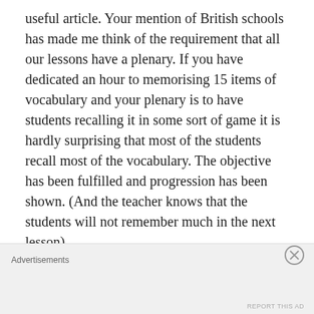useful article. Your mention of British schools has made me think of the requirement that all our lessons have a plenary. If you have dedicated an hour to memorising 15 items of vocabulary and your plenary is to have students recalling it in some sort of game it is hardly surprising that most of the students recall most of the vocabulary. The objective has been fulfilled and progression has been shown. (And the teacher knows that the students will not remember much in the next lesson)
Could you give the reference for the
Advertisements